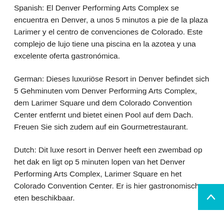Spanish: El Denver Performing Arts Complex se encuentra en Denver, a unos 5 minutos a pie de la plaza Larimer y el centro de convenciones de Colorado. Este complejo de lujo tiene una piscina en la azotea y una excelente oferta gastronómica.
German: Dieses luxuriöse Resort in Denver befindet sich 5 Gehminuten vom Denver Performing Arts Complex, dem Larimer Square und dem Colorado Convention Center entfernt und bietet einen Pool auf dem Dach. Freuen Sie sich zudem auf ein Gourmetrestaurant.
Dutch: Dit luxe resort in Denver heeft een zwembad op het dak en ligt op 5 minuten lopen van het Denver Performing Arts Complex, Larimer Square en het Colorado Convention Center. Er is hier gastronomisch eten beschikbaar.